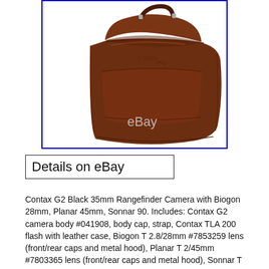[Figure (photo): Brown leather camera bag / briefcase with top handle and zipper compartments, watermarked with 'eBay', photo shown inside a blue-bordered frame on white background.]
Details on eBay
Contax G2 Black 35mm Rangefinder Camera with Biogon 28mm, Planar 45mm, Sonnar 90. Includes: Contax G2 camera body #041908, body cap, strap, Contax TLA 200 flash with leather case, Biogon T 2.8/28mm #7853259 lens (front/rear caps and metal hood), Planar T 2/45mm #7803365 lens (front/rear caps and metal hood), Sonnar T 2.8/90mm #7756696 lens (front/rear caps and metal hood), leather bag for set. Please, see pictures for detail. Contax G2 #04190 Black 35mm Rangefinder Camera Body. The body of